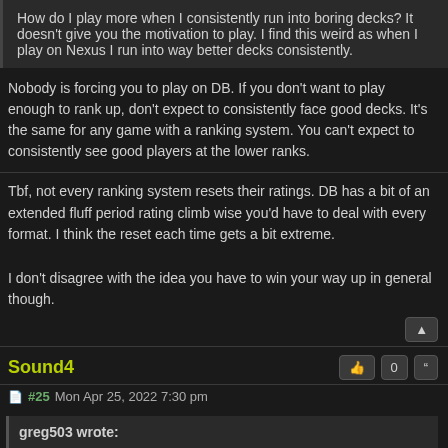How do I play more when I consistently run into boring decks? It doesn't give you the motivation to play. I find this weird as when I play on Nexus I run into way better decks consistently.
Nobody is forcing you to play on DB. If you don't want to play enough to rank up, don't expect to consistently face good decks. It's the same for any game with a ranking system. You can't expect to consistently see good players at the lower ranks.
Tbf, not every ranking system resets their ratings. DB has a bit of an extended fluff period rating climb wise you'd have to deal with every format. I think the reset each time gets a bit extreme.

I don't disagree with the idea you have to win your way up in general though.
Sound4
#25 Mon Apr 25, 2022 7:30 pm
greg503 wrote: